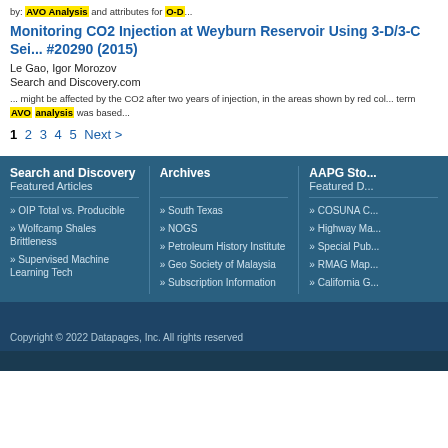by: AVO Analysis and attributes for O-D...
Monitoring CO2 Injection at Weyburn Reservoir Using 3-D/3-C Sei... #20290 (2015)
Le Gao, Igor Morozov
Search and Discovery.com
... might be affected by the CO2 after two years of injection, in the areas shown by red col... term AVO analysis was based...
1 2 3 4 5 Next >
Search and Discovery Featured Articles
» OIP Total vs. Producible
» Wolfcamp Shales Brittleness
» Supervised Machine Learning Tech
Archives
» South Texas
» NOGS
» Petroleum History Institute
» Geo Society of Malaysia
» Subscription Information
AAPG Sto... Featured D...
» COSUNA C...
» Highway Ma...
» Special Pub...
» RMAG Map...
» California G...
Copyright © 2022 Datapages, Inc. All rights reserved